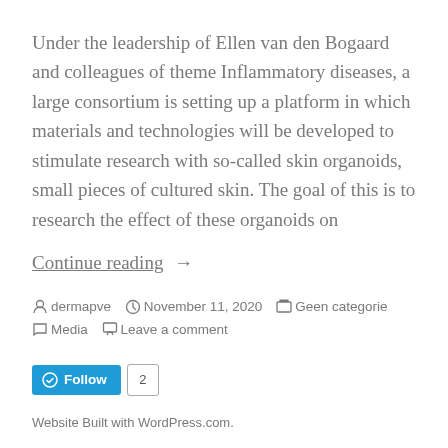Under the leadership of Ellen van den Bogaard and colleagues of theme Inflammatory diseases, a large consortium is setting up a platform in which materials and technologies will be developed to stimulate research with so-called skin organoids, small pieces of cultured skin. The goal of this is to research the effect of these organoids on
Continue reading  →
dermapve  November 11, 2020  Geen categorie  Media  Leave a comment
[Figure (other): WordPress Follow button with count badge showing 2]
Website Built with WordPress.com.